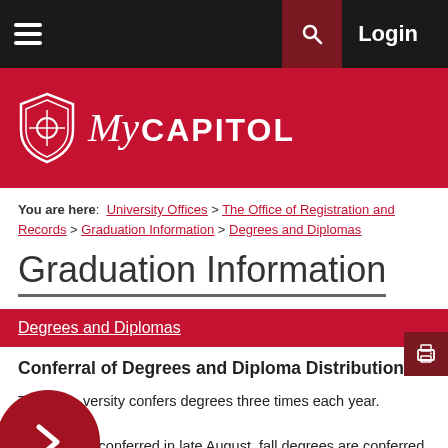Navigation bar with hamburger menu, search, and Login
[Figure (logo): My Capitol university logo on red banner with shield icon]
You are here: University Offices > The Office of Registration and Records > Graduation Information > Degrees and Diplomas
Graduation Information
Degrees and Diplomas
Conferral of Degrees and Diploma Distribution
The university confers degrees three times each year. Summer degrees are conferred in late August, fall degrees are conferred in December and spring conferral dates coincide with the Spring University commencement ceremony.